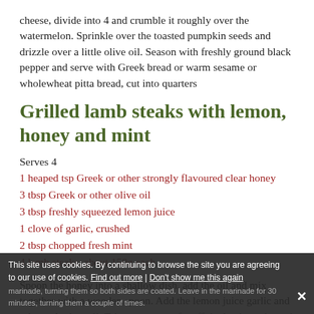cheese, divide into 4 and crumble it roughly over the watermelon. Sprinkle over the toasted pumpkin seeds and drizzle over a little olive oil. Season with freshly ground black pepper and serve with Greek bread or warm sesame or wholewheat pitta bread, cut into quarters
Grilled lamb steaks with lemon, honey and mint
Serves 4
1 heaped tsp Greek or other strongly flavoured clear honey
3 tbsp Greek or other olive oil
3 tbsp freshly squeezed lemon juice
1 clove of garlic, crushed
2 tbsp chopped fresh mint
4 lamb steaks, about 150g each
Spoon the honey into a shallow dish, add the oil and mix together with a wooden spoon. Add the lemon juice garlic and mint and mix well. Trim any excess fat off the lamb steaks and place in the marinade, turning them so both sides are coated. Leave in the marinade for 30 minutes, turning them a couple of times.
This site uses cookies. By continuing to browse the site you are agreeing to our use of cookies. Find out more | Don't show me this again